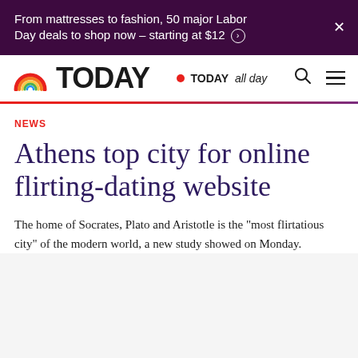From mattresses to fashion, 50 major Labor Day deals to shop now – starting at $12
[Figure (logo): TODAY show logo with rainbow arc and TODAY text in bold black]
TODAY all day | Search | Menu
NEWS
Athens top city for online flirting-dating website
The home of Socrates, Plato and Aristotle is the "most flirtatious city" of the modern world, a new study showed on Monday.